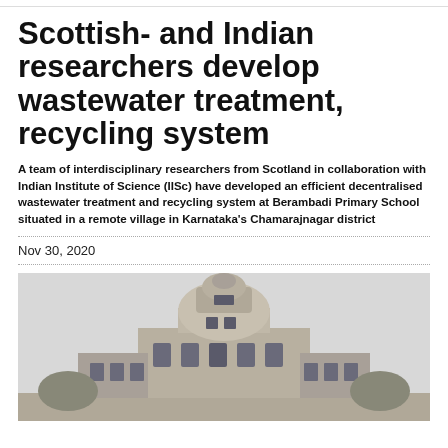Scottish- and Indian researchers develop wastewater treatment, recycling system
A team of interdisciplinary researchers from Scotland in collaboration with Indian Institute of Science (IISc) have developed an efficient decentralised wastewater treatment and recycling system at Berambadi Primary School situated in a remote village in Karnataka's Chamarajnagar district
Nov 30, 2020
[Figure (photo): Photograph of a large stone building, appears to be IISc campus building with a dome-like top structure, captured from below against a pale sky.]